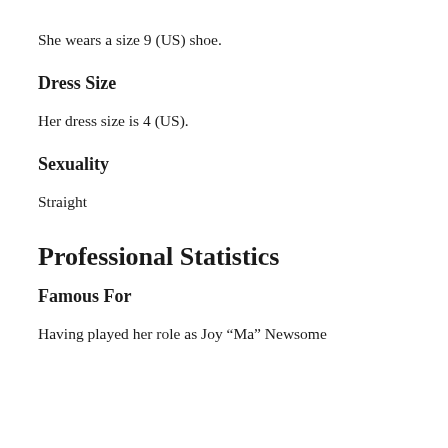She wears a size 9 (US) shoe.
Dress Size
Her dress size is 4 (US).
Sexuality
Straight
Professional Statistics
Famous For
Having played her role as Joy “Ma” Newsome